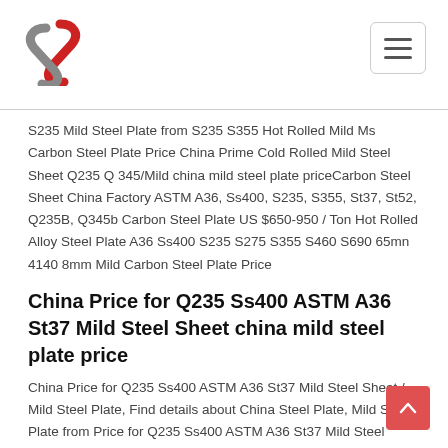S235 Mild Steel Plate from S235 S355 Hot Rolled Mild Ms Carbon Steel Plate Price China Prime Cold Rolled Mild Steel Sheet Q235 Q 345/Mild china mild steel plate priceCarbon Steel Sheet China Factory ASTM A36, Ss400, S235, S355, St37, St52, Q235B, Q345b Carbon Steel Plate US $650-950 / Ton Hot Rolled Alloy Steel Plate A36 Ss400 S235 S275 S355 S460 S690 65mn 4140 8mm Mild Carbon Steel Plate Price
China Price for Q235 Ss400 ASTM A36 St37 Mild Steel Sheet china mild steel plate price
China Price for Q235 Ss400 ASTM A36 St37 Mild Steel Sheet / Mild Steel Plate, Find details about China Steel Plate, Mild Steel Plate from Price for Q235 Ss400 ASTM A36 St37 Mild Steel Sheet / Mild Steel Plate China Mild Steel Plate, Hot Rolled Coil Japan, Price Mild china mild steel plate priceMild Steel Checkered Steel Sheet (CZ-S20) US $550-700 / Ton Good Quality 201 304 316 Stainless Steel Plate Manufacturer in